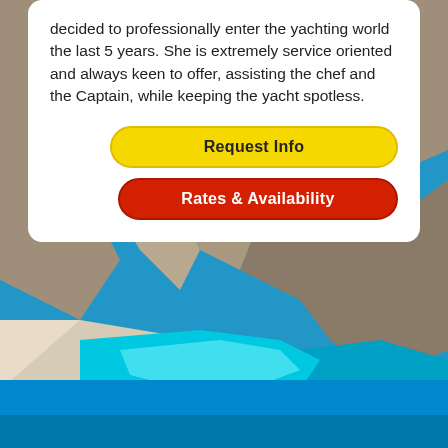decided to professionally enter the yachting world the last 5 years. She is extremely service oriented and always keen to offer, assisting the chef and the Captain, while keeping the yacht spotless.
[Figure (photo): Aerial photo of a secluded beach cove with turquoise blue water, white sand, surrounded by white limestone cliffs]